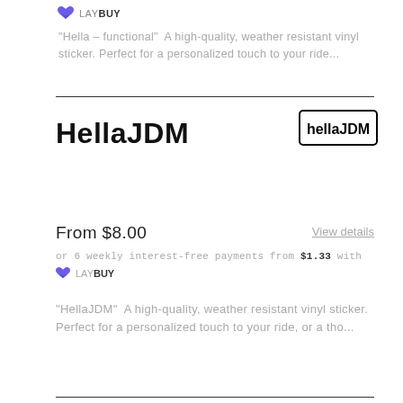[Figure (logo): Laybuy logo with purple heart/chevron icon and LAY BUY text]
"Hella - functional"  A high-quality, weather resistant vinyl sticker. Perfect for a personalized touch to your ride...
HellaJDM
[Figure (logo): HellaJDM logo badge with bold outlined text on white background]
From $8.00
View details
or 6 weekly interest-free payments from $1.33 with
[Figure (logo): Laybuy logo with purple heart/chevron icon and LAY BUY text]
"HellaJDM"  A high-quality, weather resistant vinyl sticker. Perfect for a personalized touch to your ride, or a tho...